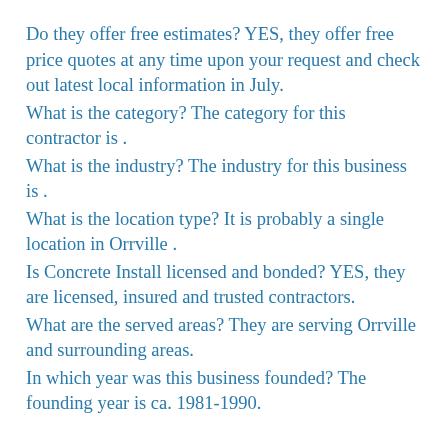Do they offer free estimates? YES, they offer free price quotes at any time upon your request and check out latest local information in July.
What is the category? The category for this contractor is .
What is the industry? The industry for this business is .
What is the location type? It is probably a single location in Orrville .
Is Concrete Install licensed and bonded? YES, they are licensed, insured and trusted contractors.
What are the served areas? They are serving Orrville and surrounding areas.
In which year was this business founded? The founding year is ca. 1981-1990.